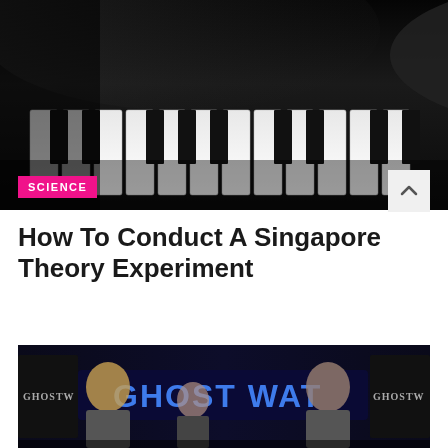[Figure (photo): Black and white close-up photograph of hands playing piano keys]
SCIENCE
How To Conduct A Singapore Theory Experiment
[Figure (photo): Television show Ghost Watch with people standing in front of illuminated Ghost Watch signs]